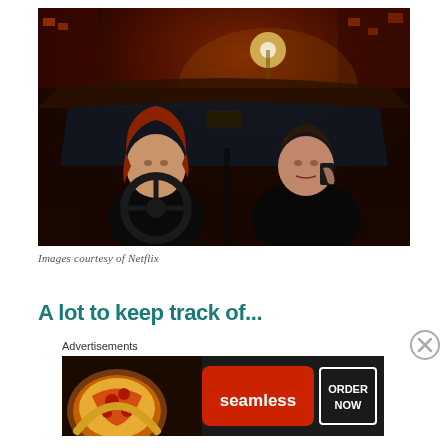[Figure (photo): Two people sitting in a car at night on a city street. A woman with red hair in the driver's seat wearing a white collared shirt, and a man in the passenger seat talking on a phone wearing a dark jacket. The background shows a city street lit with amber light.]
Images courtesy of Netflix
A lot to keep track of...
Advertisements
[Figure (other): Seamless food delivery advertisement banner. Shows pizza on the left, Seamless logo in red center, and ORDER NOW button on the right with a dark background.]